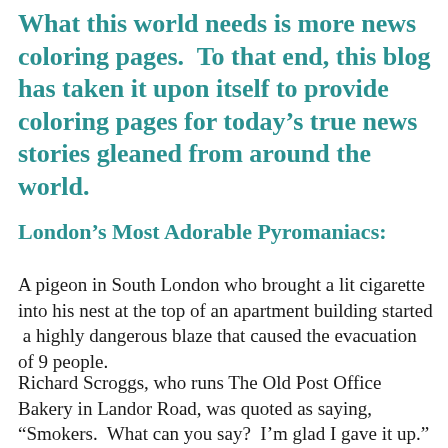What this world needs is more news coloring pages.  To that end, this blog has taken it upon itself to provide coloring pages for today's true news stories gleaned from around the world.
London's Most Adorable Pyromaniacs:
A pigeon in South London who brought a lit cigarette into his nest at the top of an apartment building started  a highly dangerous blaze that caused the evacuation of 9 people.
Richard Scroggs, who runs The Old Post Office Bakery in Landor Road, was quoted as saying, “Smokers.  What can you say?  I’m glad I gave it up.”